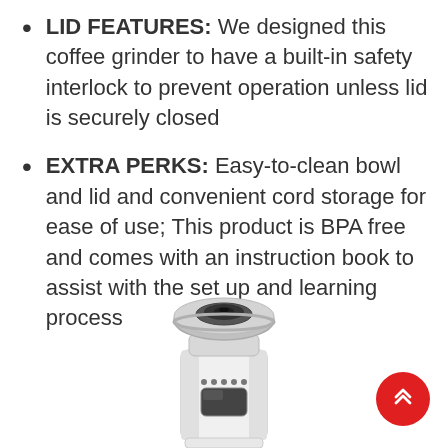LID FEATURES: We designed this coffee grinder to have a built-in safety interlock to prevent operation unless lid is securely closed
EXTRA PERKS: Easy-to-clean bowl and lid and convenient cord storage for ease of use; This product is BPA free and comes with an instruction book to assist with the set up and learning process
[Figure (photo): A stainless steel coffee grinder shown from above/front angle with a circular grinding top, ventilation dots, and a window showing interior components, on white background. A red circular scroll-to-top button is overlaid in the bottom right.]